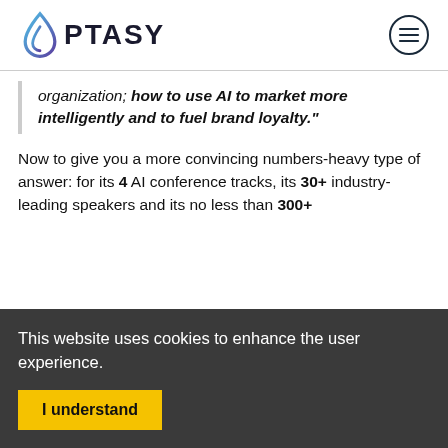[Figure (logo): Optasy logo with blue/purple water drop icon and bold text OPTASY]
organization; how to use AI to market more intelligently and to fuel brand loyalty."
Now to give you a more convincing numbers-heavy type of answer: for its 4 AI conference tracks, its 30+ industry-leading speakers and its no less than 300+
This website uses cookies to enhance the user experience.